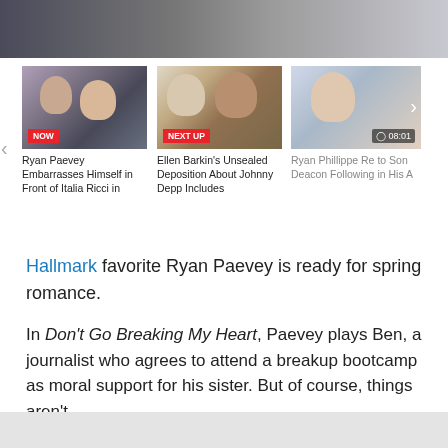[Figure (photo): Top cropped image of two people, partially visible, dark tones]
[Figure (screenshot): Horizontal video carousel with three thumbnail cards: (1) NOW badge - Ryan Paevey Embarrasses Himself in Front of Italia Ricci in; (2) NEXT UP badge - Ellen Barkin's Unsealed Deposition About Johnny Depp Includes; (3) 08:01 timer - Ryan Phillippe Re to Son Deacon Following in His A]
Ryan Paevey Embarrasses Himself in Front of Italia Ricci in
Ellen Barkin's Unsealed Deposition About Johnny Depp Includes
Ryan Phillippe Re to Son Deacon Following in His A
Hallmark favorite Ryan Paevey is ready for spring romance.
In Don't Go Breaking My Heart, Paevey plays Ben, a journalist who agrees to attend a breakup bootcamp as moral support for his sister. But of course, things aren't